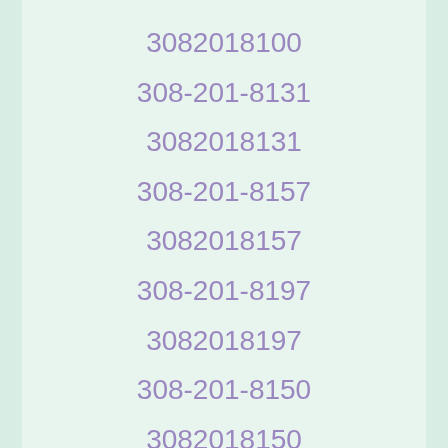3082018100
308-201-8131
3082018131
308-201-8157
3082018157
308-201-8197
3082018197
308-201-8150
3082018150
308-201-8160